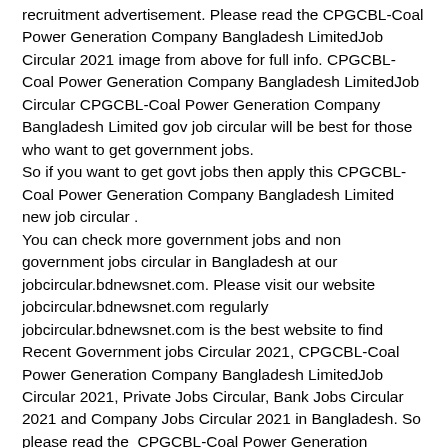recruitment advertisement. Please read the CPGCBL-Coal Power Generation Company Bangladesh LimitedJob Circular 2021 image from above for full info. CPGCBL-Coal Power Generation Company Bangladesh LimitedJob Circular CPGCBL-Coal Power Generation Company Bangladesh Limited gov job circular will be best for those who want to get government jobs.
So if you want to get govt jobs then apply this CPGCBL-Coal Power Generation Company Bangladesh Limited new job circular .
You can check more government jobs and non government jobs circular in Bangladesh at our jobcircular.bdnewsnet.com. Please visit our website jobcircular.bdnewsnet.com regularly jobcircular.bdnewsnet.com is the best website to find Recent Government jobs Circular 2021, CPGCBL-Coal Power Generation Company Bangladesh LimitedJob Circular 2021, Private Jobs Circular, Bank Jobs Circular 2021 and Company Jobs Circular 2021 in Bangladesh. So please read the CPGCBL-Coal Power Generation Company Bangladesh LimitedJob Circular 2021 and other new jobs circular.